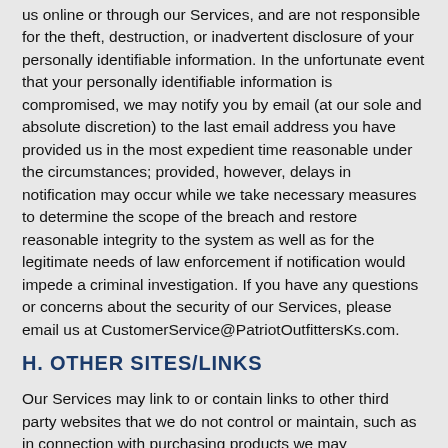us online or through our Services, and are not responsible for the theft, destruction, or inadvertent disclosure of your personally identifiable information. In the unfortunate event that your personally identifiable information is compromised, we may notify you by email (at our sole and absolute discretion) to the last email address you have provided us in the most expedient time reasonable under the circumstances; provided, however, delays in notification may occur while we take necessary measures to determine the scope of the breach and restore reasonable integrity to the system as well as for the legitimate needs of law enforcement if notification would impede a criminal investigation. If you have any questions or concerns about the security of our Services, please email us at CustomerService@PatriotOutfittersKs.com.
H. OTHER SITES/LINKS
Our Services may link to or contain links to other third party websites that we do not control or maintain, such as in connection with purchasing products we may recommend or reference via our Services and/or advertisements you may see while using our Services. We are not responsible for the privacy practices employed by any third party website, and we encourage you to read the privacy statements of all third party websites before submitting any